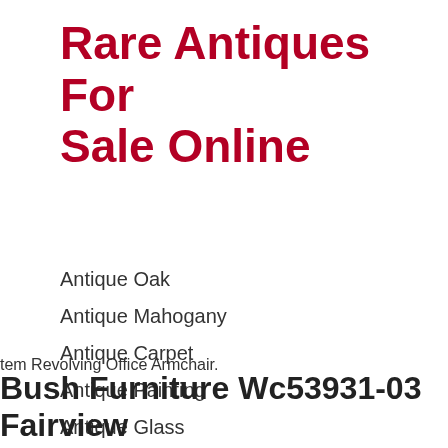Rare Antiques For Sale Online
Antique Oak
Antique Mahogany
Antique Carpet
Antique Painting
Antique Glass
Antique Plate
tem Revolving Office Armchair.
Bush Furniture Wc53931-03 Fairview